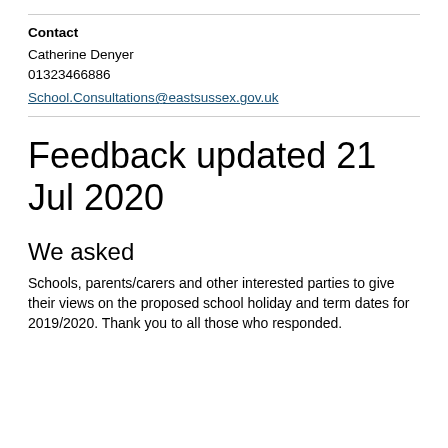Contact
Catherine Denyer
01323466886
School.Consultations@eastsussex.gov.uk
Feedback updated 21 Jul 2020
We asked
Schools, parents/carers and other interested parties to give their views on the proposed school holiday and term dates for 2019/2020. Thank you to all those who responded.